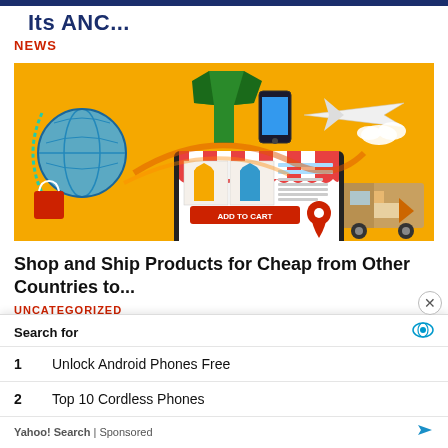Its ANC...
NEWS
[Figure (illustration): E-commerce illustration on orange background showing a computer monitor with an online shop (striped awning), products (t-shirts), 'ADD TO CART' button, globe, airplane, delivery truck, shopping bags, and map pins.]
Shop and Ship Products for Cheap from Other Countries to...
UNCATEGORIZED
[Figure (other): Yahoo Search sponsored ad overlay. Search for: 1 Unlock Android Phones Free, 2 Top 10 Cordless Phones. Yahoo! Search | Sponsored.]